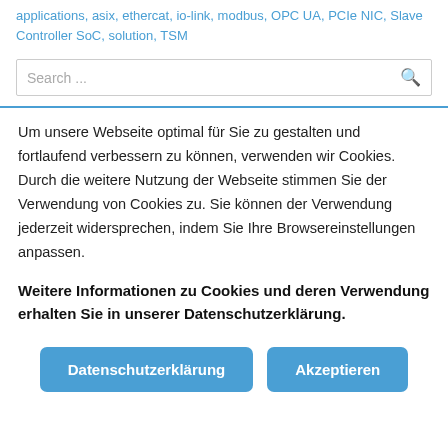applications, asix, ethercat, io-link, modbus, OPC UA, PCIe NIC, Slave Controller SoC, solution, TSM
Search ...
Um unsere Webseite optimal für Sie zu gestalten und fortlaufend verbessern zu können, verwenden wir Cookies. Durch die weitere Nutzung der Webseite stimmen Sie der Verwendung von Cookies zu. Sie können der Verwendung jederzeit widersprechen, indem Sie Ihre Browsereinstellungen anpassen.
Weitere Informationen zu Cookies und deren Verwendung erhalten Sie in unserer Datenschutzerklärung.
Datenschutzerklärung
Akzeptieren